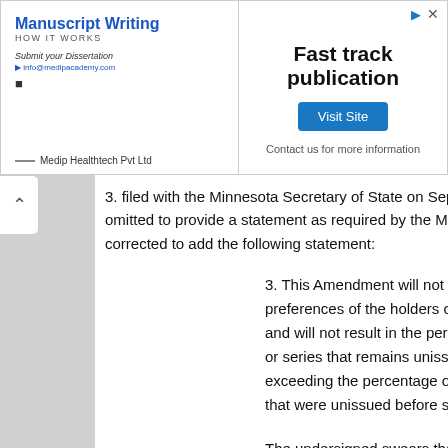[Figure (other): Advertisement banner for Manuscript Writing / Fast track publication by Medip Healthtech Pvt Ltd with Visit Site button]
3. filed with the Minnesota Secretary of State on Septembe omitted to provide a statement as required by the Minnesota corrected to add the following statement:
3. This Amendment will not adversely affect the ri preferences of the holders of outstanding shares of any and will not result in the percentage of authorized shar or series that remains unissued after the stock split set exceeding the percentage of authorized shares of that that were unissued before such stock split.
The undersigned swears that the foregoing is true and the undersigned has the authority to sign this document on b corporation.